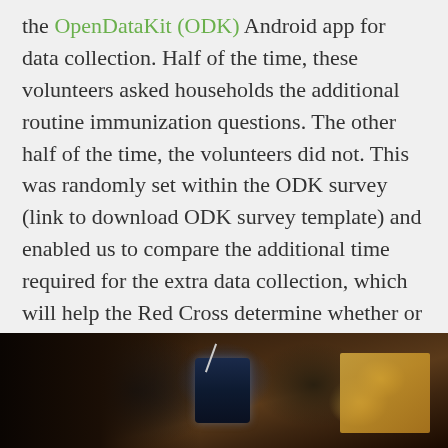the OpenDataKit (ODK) Android app for data collection. Half of the time, these volunteers asked households the additional routine immunization questions. The other half of the time, the volunteers did not. This was randomly set within the ODK survey (link to download ODK survey template) and enabled us to compare the additional time required for the extra data collection, which will help the Red Cross determine whether or not the data collection can be done on a larger scale. We also had a group conducting this work on paper forms as a control group.
[Figure (photo): Dark photograph showing a dimly lit room with what appears to be electronic devices, cables, and warm golden/amber colored curtains or fabric visible on the right side.]